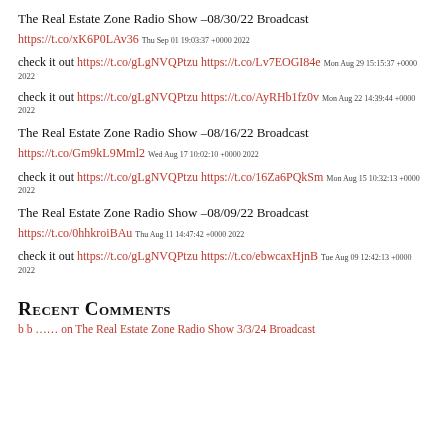The Real Estate Zone Radio Show –08/30/22 Broadcast
https://t.co/xK6P0LAv36  Thu Sep 01 19:03:37 +0000 2022
check it out https://t.co/gLgNVQPtzu https://t.co/Lv7EOGI84e  Mon Aug 29 15:15:37 +0000 2022
check it out https://t.co/gLgNVQPtzu https://t.co/AyRHb1fz0v  Mon Aug 22 14:39:44 +0000 2022
The Real Estate Zone Radio Show –08/16/22 Broadcast
https://t.co/Gm9kL9Mml2  Wed Aug 17 10:02:10 +0000 2022
check it out https://t.co/gLgNVQPtzu https://t.co/16Za6PQkSm  Mon Aug 15 10:32:13 +0000 2022
The Real Estate Zone Radio Show –08/09/22 Broadcast
https://t.co/0hhkroiBAu  Thu Aug 11 14:47:42 +0000 2022
check it out https://t.co/gLgNVQPtzu https://t.co/ebwcaxHjnB  Tue Aug 09 12:42:13 +0000 2022
Recent Comments
https://... The Real Estate Zone Radio Show 3/3/24 Broadcast...